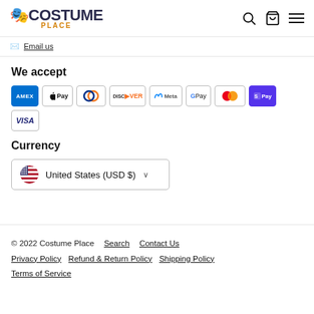[Figure (logo): Costume Place logo with decorative text and icons]
Email us
We accept
[Figure (infographic): Payment method icons: Amex, Apple Pay, Diners Club, Discover, Meta Pay, Google Pay, Mastercard, Shop Pay, Visa]
Currency
United States (USD $)
© 2022 Costume Place   Search   Contact Us   Privacy Policy   Refund & Return Policy   Shipping Policy   Terms of Service